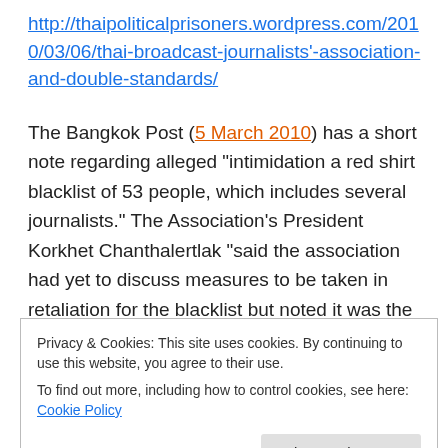http://thaipoliticalprisoners.wordpress.com/2010/03/06/thai-broadcast-journalists'-association-and-double-standards/
The Bangkok Post (5 March 2010) has a short note regarding alleged “intimidation a red shirt blacklist of 53 people, which includes several journalists.” The Association’s President Korkhet Chanthalertlak “said the association had yet to discuss measures to be taken in retaliation for the blacklist but noted it was the first time that members of media outlets had been harassed or intimidated.”
Privacy & Cookies: This site uses cookies. By continuing to use this website, you agree to their use.
To find out more, including how to control cookies, see here: Cookie Policy
Close and accept
journalists. ASTV/Manager was the subject of a grenade